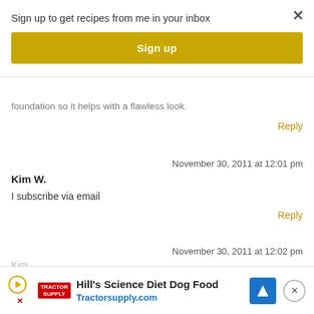Sign up to get recipes from me in your inbox
Sign up
foundation so it helps with a flawless look.
Reply
November 30, 2011 at 12:01 pm
Kim W.
I subscribe via email
Reply
November 30, 2011 at 12:02 pm
[Figure (screenshot): Advertisement banner for Hill's Science Diet Dog Food at Tractorsupply.com]
Hill's Science Diet Dog Food
Tractorsupply.com